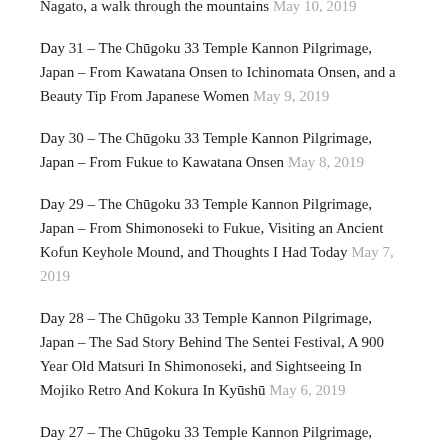Nagato, a walk through the mountains May 10, 2019
Day 31 – The Chūgoku 33 Temple Kannon Pilgrimage, Japan – From Kawatana Onsen to Ichinomata Onsen, and a Beauty Tip From Japanese Women May 9, 2019
Day 30 – The Chūgoku 33 Temple Kannon Pilgrimage, Japan – From Fukue to Kawatana Onsen May 8, 2019
Day 29 – The Chūgoku 33 Temple Kannon Pilgrimage, Japan – From Shimonoseki to Fukue, Visiting an Ancient Kofun Keyhole Mound, and Thoughts I Had Today May 7, 2019
Day 28 – The Chūgoku 33 Temple Kannon Pilgrimage, Japan – The Sad Story Behind The Sentei Festival, A 900 Year Old Matsuri In Shimonoseki, and Sightseeing In Mojiko Retro And Kokura In Kyūshū May 6, 2019
Day 27 – The Chūgoku 33 Temple Kannon Pilgrimage,